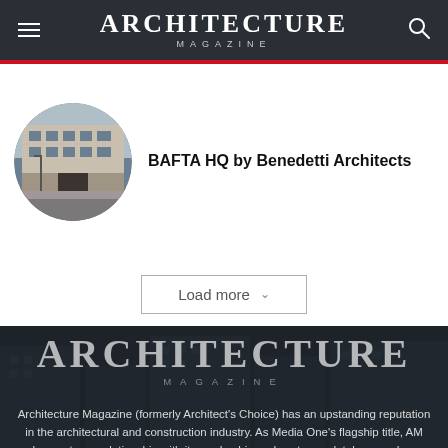ARCHITECTURE MAGAZINE
[Figure (photo): Circular thumbnail photo of BAFTA HQ building exterior, a classical stone-facade building on a London street]
BAFTA HQ by Benedetti Architects
Load more
[Figure (logo): Architecture Magazine logo in large white serif text on dark background with tagline MAGAZINE in spaced caps]
Architecture Magazine (formerly Architect's Choice) has an upstanding reputation in the architectural and construction industry. As Media One's flagship title, AM has a strong relationship with its readership and customer database and an undoubting position as a top product magazine in the industry.